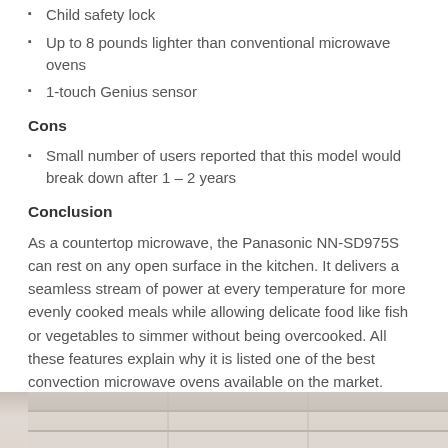Child safety lock
Up to 8 pounds lighter than conventional microwave ovens
1-touch Genius sensor
Cons
Small number of users reported that this model would break down after 1 – 2 years
Conclusion
As a countertop microwave, the Panasonic NN-SD975S can rest on any open surface in the kitchen. It delivers a seamless stream of power at every temperature for more evenly cooked meals while allowing delicate food like fish or vegetables to simmer without being overcooked. All these features explain why it is listed one of the best convection microwave ovens available on the market.
[Figure (photo): Bottom strip of a photo showing a kitchen countertop surface, light beige/tan tones]